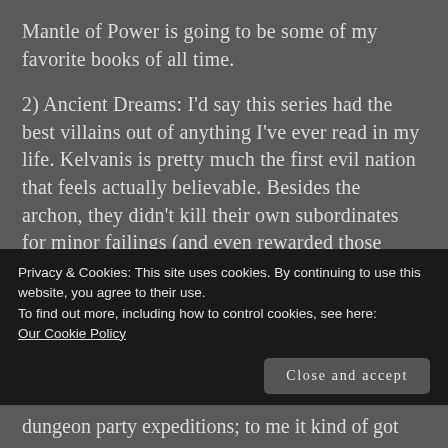Mantle of Power is going to be some of my favorite books of all time.
2) Ancient Dreams: I'd say this series had the best villains out of anything I've ever read in my life. Kelvanis is pretty much the first evil nation that feels actually believable. Besides the archon, they didn't kill their own subordinates for minor failings (and even rewarded those involved in failures if it wasn't their fault), they had their own on-going plans that sometime failed and sometime succeeded independently of the heroes, they weren't overwhelmingly powerful
Privacy & Cookies: This site uses cookies. By continuing to use this website, you agree to their use.
To find out more, including how to control cookies, see here:
Our Cookie Policy
dungeon party expeditions; to me it kind of got